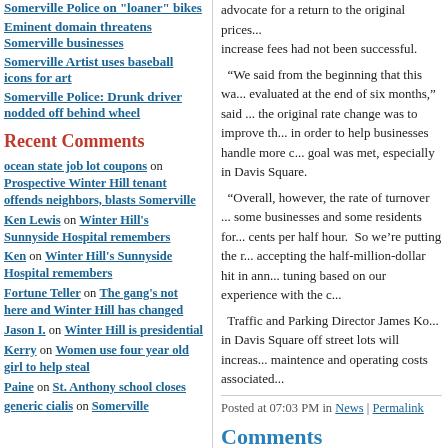Somerville Police on "loaner" bikes
Eminent domain threatens Somerville businesses
Somerville Artist uses baseball icons for art
Somerville Police: Drunk driver nodded off behind wheel
Recent Comments
ocean state job lot coupons on Prospective Winter Hill tenant offends neighbors, blasts Somerville
Ken Lewis on Winter Hill's Sunnyside Hospital remembers
Ken on Winter Hill's Sunnyside Hospital remembers
Fortune Teller on The gang's not here and Winter Hill has changed
Jason I. on Winter Hill is presidential
Kerry on Women use four year old girl to help steal
Paine on St. Anthony school closes
generic cialis on Somerville
advocate for a return to the original prices... increase fees had not been successful.
“We said from the beginning that this wa... evaluated at the end of six months,” said ... the original rate change was to improve th... in order to help businesses handle more c... goal was met, especially in Davis Square.
“Overall, however, the rate of turnover ... some businesses and some residents for... cents per half hour. So we’re putting the r... accepting the half-million-dollar hit in ann... tuning based on our experience with the c...
Traffic and Parking Director James Ko... in Davis Square off street lots will increas... maintence and operating costs associated...
Posted at 07:03 PM in News | Permalink
Comments
The great and powerful OZ ha...
Posted by: golf1 | February 06, 200...
The statement to Somervile Pa...